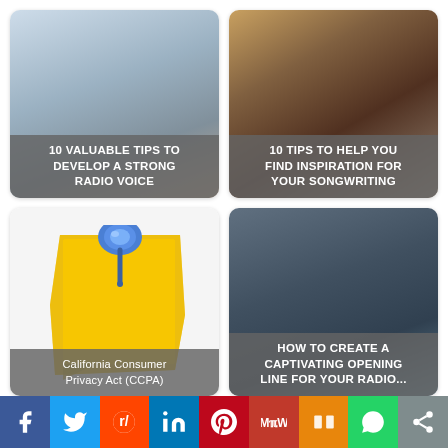[Figure (photo): Card 1: Blurred interior/room scene with overlay text '10 VALUABLE TIPS TO DEVELOP A STRONG RADIO VOICE']
[Figure (photo): Card 2: Person with headphones at recording desk with overlay text '10 TIPS TO HELP YOU FIND INSPIRATION FOR YOUR SONGWRITING']
[Figure (illustration): Card 3: Sticky note with blue thumbtack illustration, overlay text 'California Consumer Privacy Act (CCPA)']
[Figure (photo): Card 4: Man with headphones speaking into microphone with overlay text 'HOW TO CREATE A CAPTIVATING OPENING LINE FOR YOUR RADIO...']
Editor's Picks:
[Figure (screenshot): Partial thumbnail visible at bottom right]
[Figure (infographic): Social sharing bar with icons: Facebook, Twitter, Reddit, LinkedIn, Pinterest, MeWe, Mix, WhatsApp, Share]